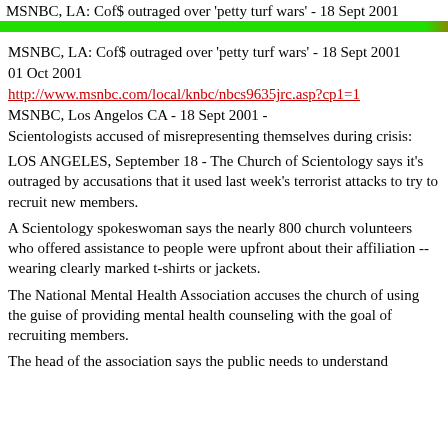MSNBC, LA: Cof$ outraged over 'petty turf wars' - 18 Sept 2001
MSNBC, LA: Cof$ outraged over 'petty turf wars' - 18 Sept 2001
01 Oct 2001
http://www.msnbc.com/local/knbc/nbcs9635jrc.asp?cp1=1
MSNBC, Los Angelos CA - 18 Sept 2001 -
Scientologists accused of misrepresenting themselves during crisis:
LOS ANGELES, September 18 - The Church of Scientology says it's outraged by accusations that it used last week's terrorist attacks to try to recruit new members.
A Scientology spokeswoman says the nearly 800 church volunteers who offered assistance to people were upfront about their affiliation -- wearing clearly marked t-shirts or jackets.
The National Mental Health Association accuses the church of using the guise of providing mental health counseling with the goal of recruiting members.
The head of the association says the public needs to understand